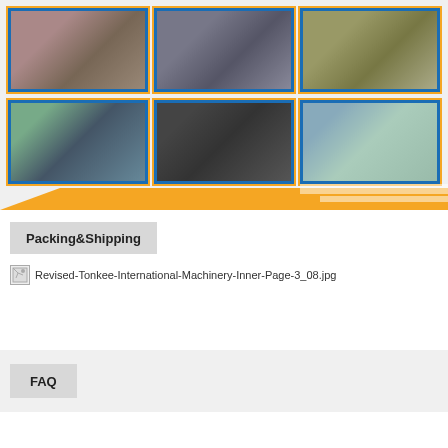[Figure (photo): Grid of six photos showing people at trade shows and gatherings, arranged in two rows of three. Top row: group of people posing together, two men examining products at a table, man and woman looking at documents. Bottom row: woman and man at exhibition booth, group of three people at night city scene, group of five people posing together.]
Packing&Shipping
[Figure (photo): Broken image placeholder labeled Revised-Tonkee-International-Machinery-Inner-Page-3_08.jpg]
FAQ